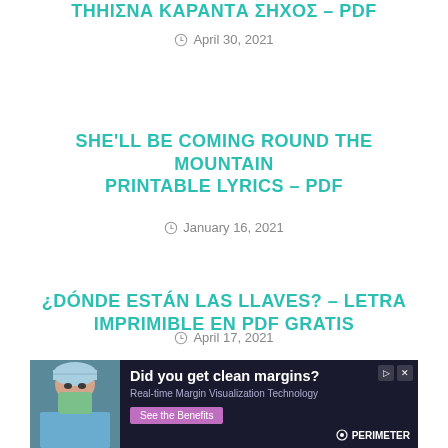ΤΗΗΙΣΝΑ ΚΑΡΑΝTΑ ΣΗΧΟΣ – PDF
April 30, 2021
SHE'LL BE COMING ROUND THE MOUNTAIN PRINTABLE LYRICS – PDF
January 16, 2021
¿DÓNDE ESTÁN LAS LLAVES? – LETRA IMPRIMIBLE EN PDF GRATIS
April 17, 2021
[Figure (infographic): Advertisement banner: Did you get clean margins? Real-time Margin Visualization Technology. See the Benefits. PERIMETER. Shows a surgeon in mask and blue cap.]